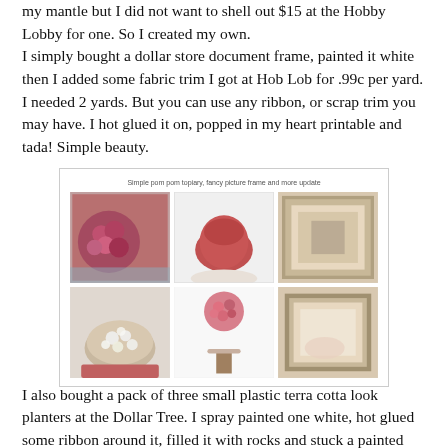my mantle but I did not want to shell out $15 at the Hobby Lobby for one. So I created my own.
I simply bought a dollar store document frame, painted it white then I added some fabric trim I got at Hob Lob for .99c per yard. I needed 2 yards. But you can use any ribbon, or scrap trim you may have. I hot glued it on, popped in my heart printable and tada! Simple beauty.
[Figure (photo): Screenshot of a blog post or webpage showing a collage of 6 photos in a 3x2 grid. The photos show craft/DIY project steps: pink/red flower balls, a red terracotta planter, a framed picture on a table, a bowl with white balls, a small decorative topiary, and a decorated picture frame. Caption above reads: Simple pom pom topiary, fancy picture frame and more update]
I also bought a pack of three small plastic terra cotta look planters at the Dollar Tree. I spray painted one white, hot glued some ribbon around it, filled it with rocks and stuck a painted dowel in. I then balled up some newspaper, taped it